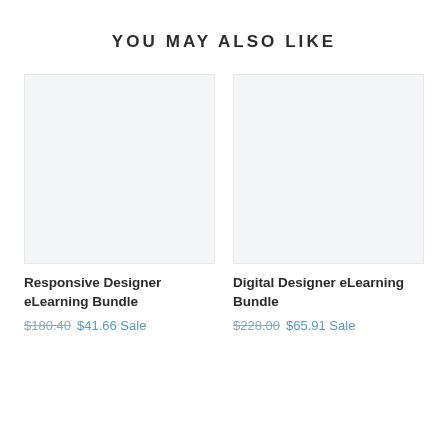YOU MAY ALSO LIKE
[Figure (other): Product image placeholder for Responsive Designer eLearning Bundle — light gray rectangle]
Responsive Designer eLearning Bundle
$180.40  $41.66 Sale
[Figure (other): Product image placeholder for Digital Designer eLearning Bundle — light gray rectangle]
Digital Designer eLearning Bundle
$228.00  $65.91 Sale